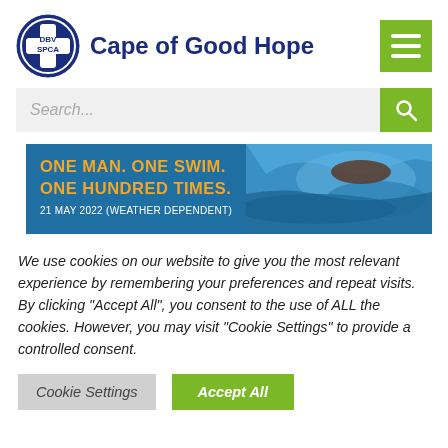[Figure (logo): DBV SPCA blue cross logo circle with text 'DBV SPCA' inside, and site title 'Cape of Good Hope' next to it, plus a green hamburger menu button on the right]
[Figure (screenshot): Search bar with placeholder text 'Search...' and green search icon button on the right]
[Figure (infographic): Banner image with blue background and swimmer photo. Text reads: 'ONE MAN. ONE SWIM. ONE HUNDRED TIMES.' in orange/white bold, and '21 MAY 2022 (WEATHER DEPENDENT)' in white below]
We use cookies on our website to give you the most relevant experience by remembering your preferences and repeat visits. By clicking "Accept All", you consent to the use of ALL the cookies. However, you may visit "Cookie Settings" to provide a controlled consent.
Cookie Settings | Accept All